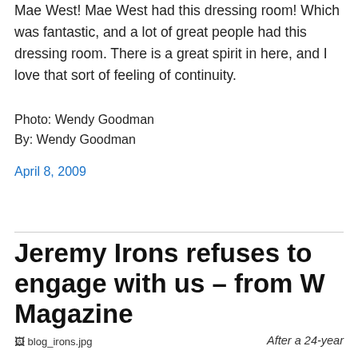Mae West! Mae West had this dressing room! Which was fantastic, and a lot of great people had this dressing room. There is a great spirit in here, and I love that sort of feeling of continuity.
Photo: Wendy Goodman
By: Wendy Goodman
April 8, 2009
Jeremy Irons refuses to engage with us – from W Magazine
[Figure (photo): blog_irons.jpg placeholder image]
After a 24-year